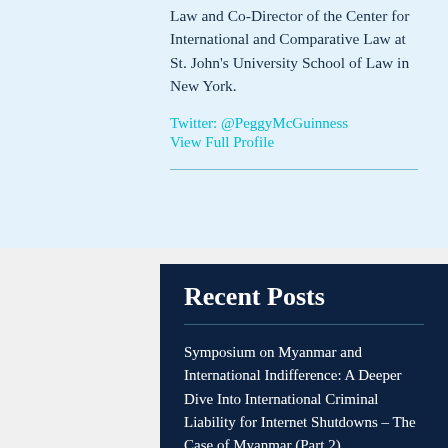Peggy McGuinness is Professor of Law and Co-Director of the Center for International and Comparative Law at St. John's University School of Law in New York.
Twitter: @PeggyMcGuinness
View Full Profile
Recent Posts
Symposium on Myanmar and International Indifference: A Deeper Dive Into International Criminal Liability for Internet Shutdowns – The Case of Myanmar (Part 2)